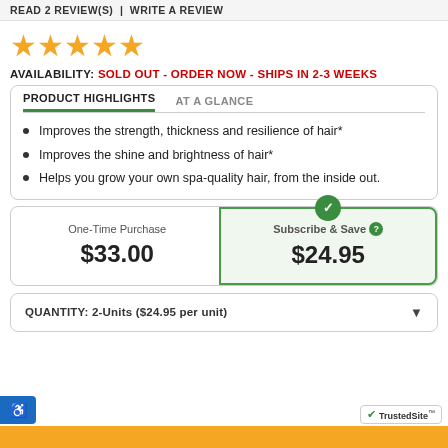READ 2 REVIEW(S) | WRITE A REVIEW
[Figure (illustration): Five gold star rating icons]
AVAILABILITY: SOLD OUT - ORDER NOW - SHIPS IN 2-3 WEEKS
PRODUCT HIGHLIGHTS | AT A GLANCE
Improves the strength, thickness and resilience of hair*
Improves the shine and brightness of hair*
Helps you grow your own spa-quality hair, from the inside out.
| One-Time Purchase | Subscribe & Save |
| --- | --- |
| $33.00 | $24.95 |
QUANTITY: 2-Units ($24.95 per unit)